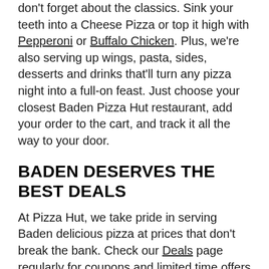don't forget about the classics. Sink your teeth into a Cheese Pizza or top it high with Pepperoni or Buffalo Chicken. Plus, we're also serving up wings, pasta, sides, desserts and drinks that'll turn any pizza night into a full-on feast. Just choose your closest Baden Pizza Hut restaurant, add your order to the cart, and track it all the way to your door.
BADEN DESERVES THE BEST DEALS
At Pizza Hut, we take pride in serving Baden delicious pizza at prices that don't break the bank. Check our Deals page regularly for coupons and limited time offers that are available for delivery, carryout, or pickup through The Hut Lane™ drive-thru (at participating Pizza Hut locations). Whether you're ordering for a family dinner, a gameday, or a movie night, there's bound to be a deal for you.